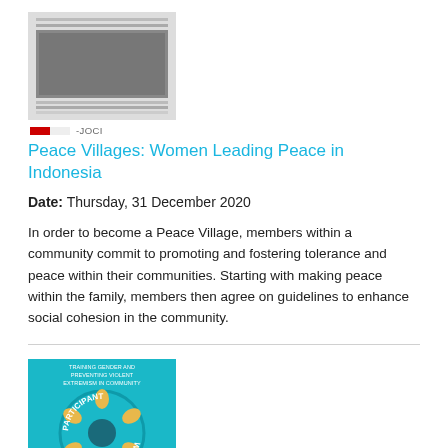[Figure (photo): Thumbnail image showing a grayscale photograph with horizontal lines above and below it, and a small Indonesian flag icon below]
Peace Villages: Women Leading Peace in Indonesia
Date: Thursday, 31 December 2020
In order to become a Peace Village, members within a community commit to promoting and fostering tolerance and peace within their communities. Starting with making peace within the family, members then agree on guidelines to enhance social cohesion in the community.
[Figure (photo): Book cover: Participant Workbook on Training Gender and Preventing Violent Extremism, teal background with circular logo showing people figures]
Training Modules on Gender and Preventing Violent Extremism in